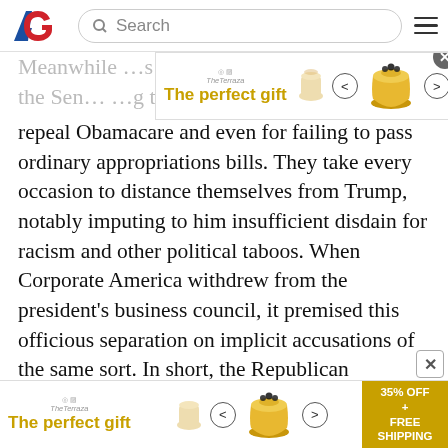[Figure (screenshot): AG (American Greatness) website navigation bar with logo, search field, and hamburger menu]
[Figure (other): Advertisement banner: 'The perfect gift' with teapot cup imagery, navigation arrows, and '35% OFF + FREE SHIPPING' offer badge]
Meanwhile … s in the Se… …g to repeal Obamacare and even for failing to pass ordinary appropriations bills. They take every occasion to distance themselves from Trump, notably imputing to him insufficient disdain for racism and other political taboos. When Corporate America withdrew from the president's business council, it premised this officious separation on implicit accusations of the same sort. In short, the Republican establishment now joins Hillary Clinton in leveling “deplo­rable” allegations against Trump and, above all, of his supporters. Nevertheless, Trump agreed to endorse that establishment’s candidate in the Alabama senatorial primary against one of his own supporters.
[Figure (other): Bottom advertisement banner: 'The perfect gift' with teapot cup imagery, navigation arrows, and '35% OFF + FREE SHIPPING' offer badge]